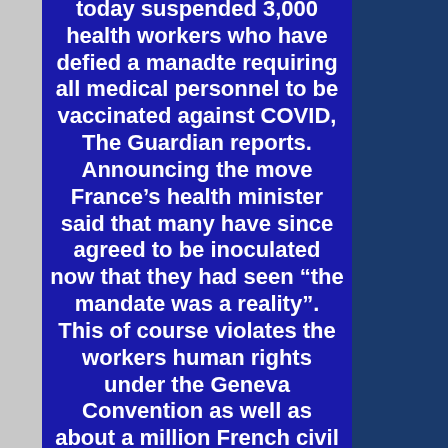today suspended 3,000 health workers who have defied a manadte requiring all medical personnel to be vaccinated against COVID, The Guardian reports. Announcing the move France’s health minister said that many have since agreed to be inoculated now that they had seen “the mandate was a reality”. This of course violates the workers human rights under the Geneva Convention as well as about a million French civil and employment rights laws.